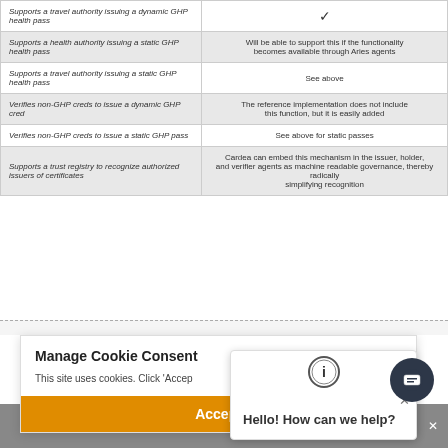| Feature | Notes |
| --- | --- |
| Supports a travel authority issuing a dynamic GHP health pass | ✓ |
| Supports a health authority issuing a static GHP health pass | Will be able to support this if the functionality becomes available through Aries agents |
| Supports a travel authority issuing a static GHP health pass | See above |
| Verifies non-GHP creds to issue a dynamic GHP cred | The reference implementation does not include this function, but it is easily added |
| Verifies non-GHP creds to issue a static GHP pass | See above for static passes |
| Supports a trust registry to recognize authorized issuers of certificates | Cardea can embed this mechanism in the issuer, holder, and verifier agents as machine readable governance, thereby radically simplifying recognition |
Manage Cookie Consent
This site uses cookies. Click 'Accep...
Accept
Hello! How can we help?
Cookie Policy   Privacy Policy   Share This